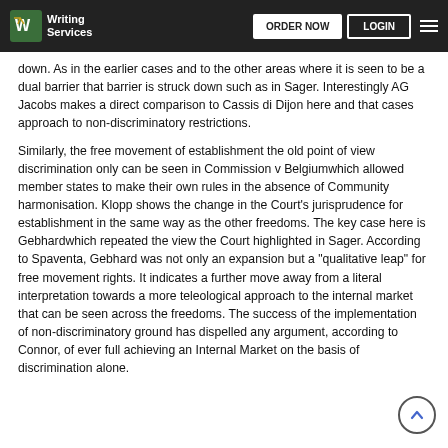Writing Services | ORDER NOW | LOGIN
down. As in the earlier cases and to the other areas where it is seen to be a dual barrier that barrier is struck down such as in Sager. Interestingly AG Jacobs makes a direct comparison to Cassis di Dijon here and that cases approach to non-discriminatory restrictions.
Similarly, the free movement of establishment the old point of view discrimination only can be seen in Commission v Belgiumwhich allowed member states to make their own rules in the absence of Community harmonisation. Klopp shows the change in the Court’s jurisprudence for establishment in the same way as the other freedoms. The key case here is Gebhardwhich repeated the view the Court highlighted in Sager. According to Spaventa, Gebhard was not only an expansion but a “qualitative leap” for free movement rights. It indicates a further move away from a literal interpretation towards a more teleological approach to the internal market that can be seen across the freedoms. The success of the implementation of non-discriminatory ground has dispelled any argument, according to Connor, of ever full achieving an Internal Market on the basis of discrimination alone.